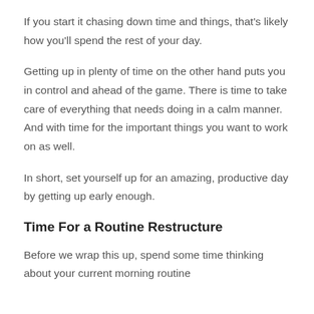If you start it chasing down time and things, that's likely how you'll spend the rest of your day.
Getting up in plenty of time on the other hand puts you in control and ahead of the game. There is time to take care of everything that needs doing in a calm manner. And with time for the important things you want to work on as well.
In short, set yourself up for an amazing, productive day by getting up early enough.
Time For a Routine Restructure
Before we wrap this up, spend some time thinking about your current morning routine